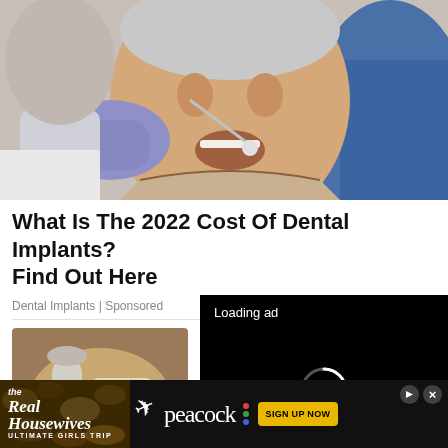[Figure (photo): Elderly man at dentist with mouth open, dentist in blue scrubs and purple gloves using dental tools, dental hygienist in mask visible on left]
What Is The 2022 Cost Of Dental Implants? Find Out Here
Dental Implants | Sponsored
[Figure (photo): Partial view of a dental-related image in lower left]
[Figure (screenshot): Loading ad video player with pause, expand, and mute buttons on black background]
[Figure (infographic): The Real Housewives Ultimate Girls Trip banner advertisement for Peacock streaming with SIGN UP NOW button]